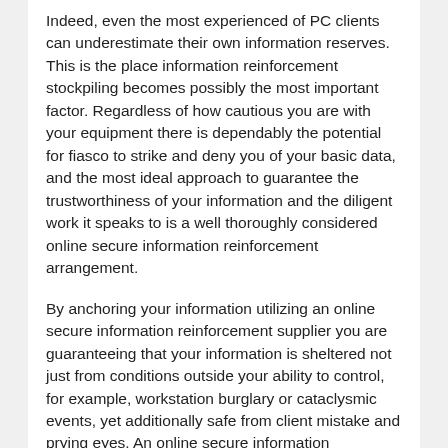Indeed, even the most experienced of PC clients can underestimate their own information reserves. This is the place information reinforcement stockpiling becomes possibly the most important factor. Regardless of how cautious you are with your equipment there is dependably the potential for fiasco to strike and deny you of your basic data, and the most ideal approach to guarantee the trustworthiness of your information and the diligent work it speaks to is a well thoroughly considered online secure information reinforcement arrangement.
By anchoring your information utilizing an online secure information reinforcement supplier you are guaranteeing that your information is sheltered not just from conditions outside your ability to control, for example, workstation burglary or cataclysmic events, yet additionally safe from client mistake and prying eyes. An online secure information reinforcement arrangement keeps your information sheltered and sound in a